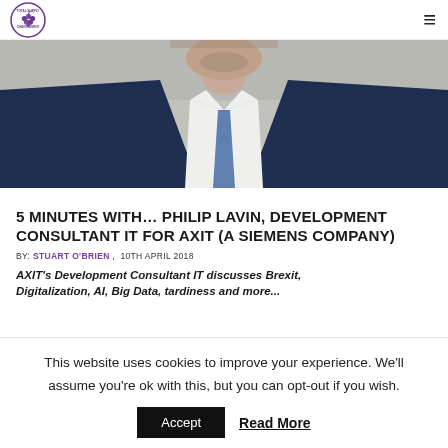Total Supply Chain Summit logo and navigation
[Figure (photo): Close-up photo of a man in a dark navy suit with white shirt and blue tie, cropped to show lower face/neck and upper body]
5 MINUTES WITH… PHILIP LAVIN, DEVELOPMENT CONSULTANT IT FOR AXIT (A SIEMENS COMPANY)
BY: STUART O'BRIEN , 10TH APRIL 2018
AXIT's Development Consultant IT discusses Brexit, Digitalization, AI, Big Data, tardiness and more...
This website uses cookies to improve your experience. We'll assume you're ok with this, but you can opt-out if you wish.